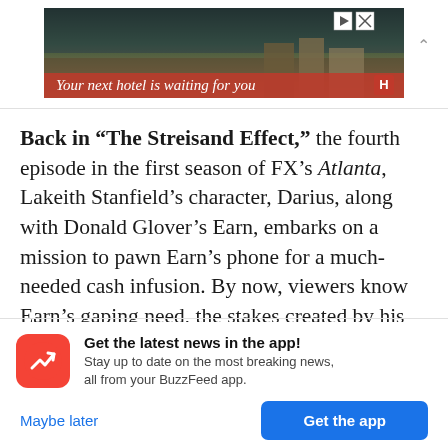[Figure (other): Advertisement banner showing hotel/resort with text 'Your next hotel is waiting for you']
Back in “The Streisand Effect,” the fourth episode in the first season of FX’s Atlanta, Lakeith Stanfield’s character, Darius, along with Donald Glover’s Earn, embarks on a mission to pawn Earn’s phone for a much-needed cash infusion. By now, viewers know Earn’s gaping need, the stakes created by his strained relationship with his baby
Get the latest news in the app! Stay up to date on the most breaking news, all from your BuzzFeed app.
Maybe later
Get the app